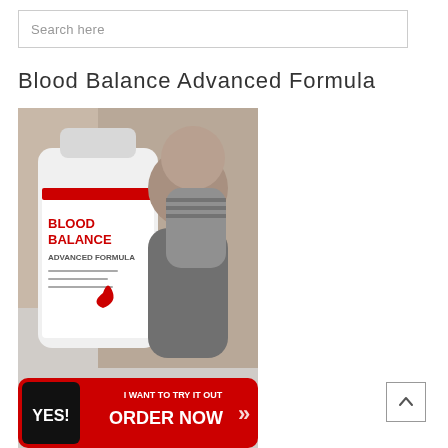Search here
Blood Balance Advanced Formula
[Figure (photo): Product photo of Blood Balance Advanced Formula supplement bottle with a smiling couple in the background, and a red 'YES! I WANT TO TRY IT OUT ORDER NOW' call-to-action button at the bottom.]